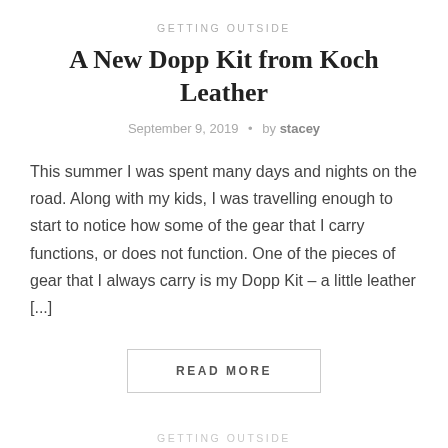GETTING OUTSIDE
A New Dopp Kit from Koch Leather
September 9, 2019  •  by stacey
This summer I was spent many days and nights on the road. Along with my kids, I was travelling enough to start to notice how some of the gear that I carry functions, or does not function. One of the pieces of gear that I always carry is my Dopp Kit – a little leather [...]
READ MORE
GETTING OUTSIDE